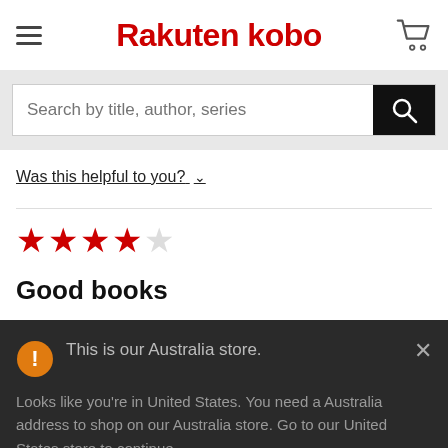Rakuten kobo
Search by title, author, series
Was this helpful to you?
[Figure (other): 4-star rating (4 filled red stars, 1 empty star)]
Good books
This is our Australia store.
Looks like you're in United States. You need a Australia address to shop on our Australia store. Go to our United States store to continue.
Go to United States Store
Choose another store